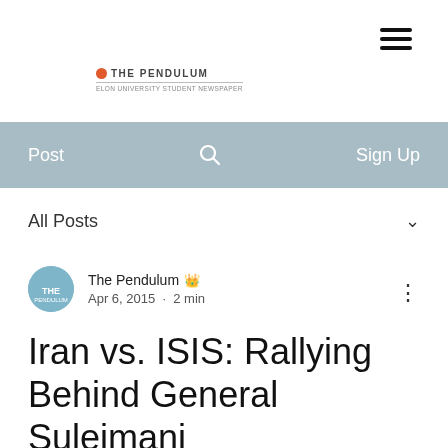[Figure (logo): The Pendulum logo with orange circle and text]
Post   🔍   Sign Up
All Posts
The Pendulum 👑  Apr 6, 2015 · 2 min
Iran vs. ISIS: Rallying Behind General Suleimani